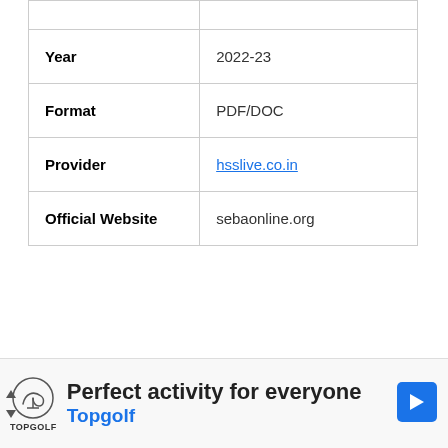|  |  |
| --- | --- |
|  |  |
| Year | 2022-23 |
| Format | PDF/DOC |
| Provider | hsslive.co.in |
| Official Website | sebaonline.org |
[Figure (other): Advertisement banner for Topgolf: 'Perfect activity for everyone' with Topgolf logo and a blue navigation arrow icon]